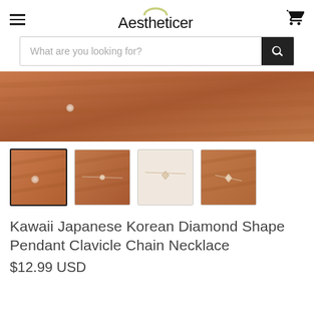Aestheticer
[Figure (screenshot): Search bar with placeholder text 'What are you looking for?' and a black search button with magnifying glass icon]
[Figure (photo): Close-up photo of a necklace with diamond shape pendant on brown/tan skin background - main product image]
[Figure (photo): Four product thumbnail images of the necklace shown on skin background, first thumbnail selected with dark border]
Kawaii Japanese Korean Diamond Shape Pendant Clavicle Chain Necklace
$12.99 USD